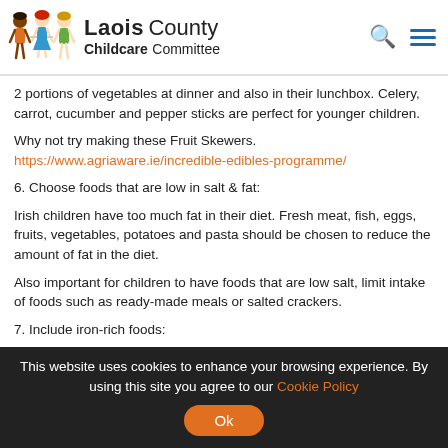[Figure (logo): Laois County Childcare Committee logo with cartoon children and organization name]
2 portions of vegetables at dinner and also in their lunchbox. Celery, carrot, cucumber and pepper sticks are perfect for younger children.
Why not try making these Fruit Skewers. https://www.agriaware.ie/incredible-edibles-programme/
6. Choose foods that are low in salt & fat:
Irish children have too much fat in their diet. Fresh meat, fish, eggs, fruits, vegetables, potatoes and pasta should be chosen to reduce the amount of fat in the diet.
Also important for children to have foods that are low salt, limit intake of foods such as ready-made meals or salted crackers.
7. Include iron-rich foods:
In Ireland about one in ten two-year-olds were found to be anaemic (not enough iron in the blood). Red meat (lamb, beef, pork) and chicken are excellent sources of easily absorbed iron. The iron in meat
This website uses cookies to enhance your browsing experience. By using this site you agree to our Cookie Policy